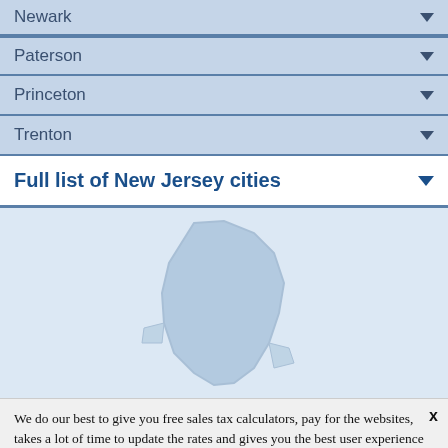Newark
Paterson
Princeton
Trenton
Full list of New Jersey cities
[Figure (map): Faded map/silhouette of New Jersey state used as background image in the middle section]
We do our best to give you free sales tax calculators, pay for the websites, takes a lot of time to update the rates and gives you the best user experience possible. To this end, we show advertising from partners and use Google Analytics on our website. These partner may use Cookies in their advertising or data analytics strategy. By continuing your navigation on Sales Tax States or by clicking on the close button you accept the use of cookies.